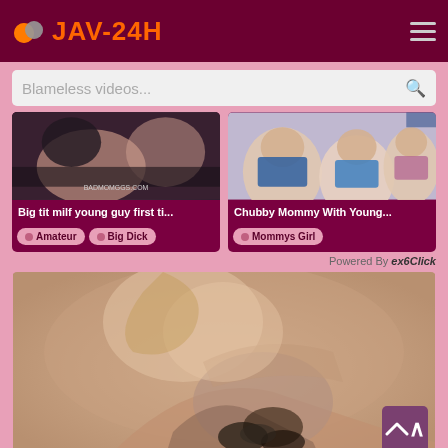JAV-24H
Blameless videos...
[Figure (screenshot): Video thumbnail: Big tit milf young guy first ti...]
Big tit milf young guy first ti...
Amateur  Big Dick
[Figure (screenshot): Video thumbnail: Chubby Mommy With Young...]
Chubby Mommy With Young...
Mommys Girl
Powered By ex6Click
[Figure (photo): Main video thumbnail showing close-up photo]
Lisa Be...